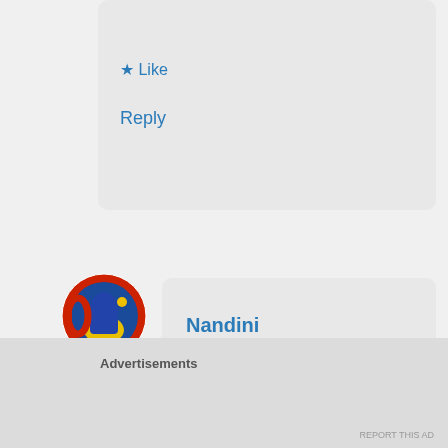[Figure (other): Partial top comment area showing Like and Reply links]
Like
Reply
[Figure (photo): User avatar with red and blue circular icon (Nandini's profile picture)]
Nandini
November 30, 2016 at 19:51
Thank you Johanne so much
🙂
Like
Reply
Advertisements